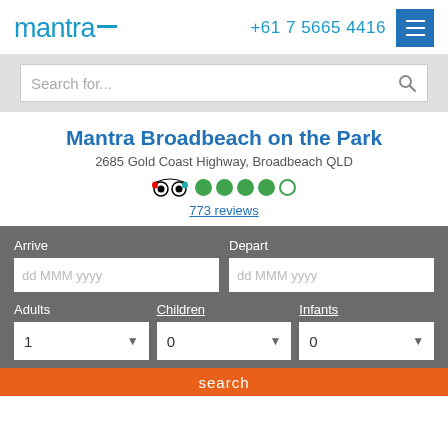[Figure (logo): Mantra brand logo in teal/blue with a dash]
+61 7 5665 4416
[Figure (other): Hamburger menu button (three lines) in blue square]
[Figure (screenshot): Search for... input bar with search icon]
Mantra Broadbeach on the Park
2685 Gold Coast Highway, Broadbeach QLD
[Figure (other): TripAdvisor owl icon with 4.5 green circle rating dots]
773 reviews
Arrive
dd MMM yyyy
Depart
dd MMM yyyy
Adults
Children
Infants
1
0
0
search